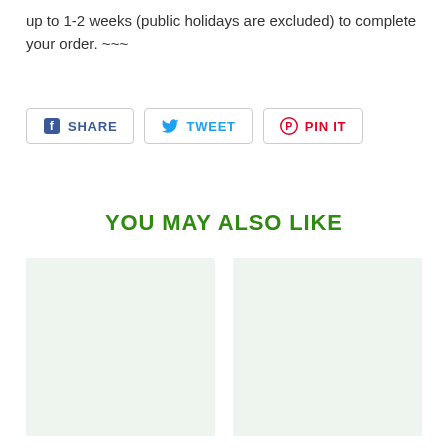up to 1-2 weeks (public holidays are excluded) to complete your order. ~~~
[Figure (infographic): Social sharing buttons: SHARE (Facebook), TWEET (Twitter), PIN IT (Pinterest)]
YOU MAY ALSO LIKE
[Figure (other): Two product placeholder image cards with light green background]